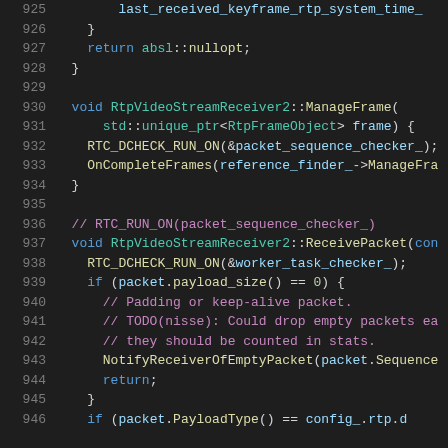[Figure (screenshot): Source code viewer showing C++ code lines 925-946 of RtpVideoStreamReceiver2 implementation with syntax highlighting on dark background]